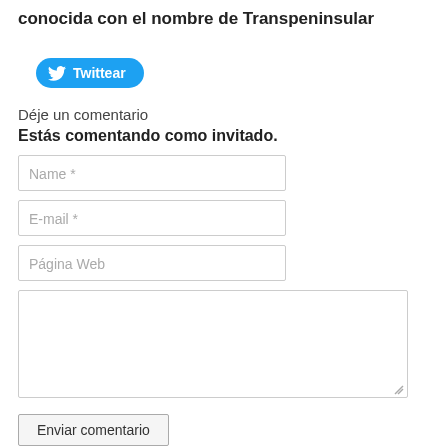conocida con el nombre de Transpeninsular
[Figure (other): Twitter share button labeled 'Twittear']
Déje un comentario
Estás comentando como invitado.
Name *
E-mail *
Página Web
(textarea for comment)
Enviar comentario